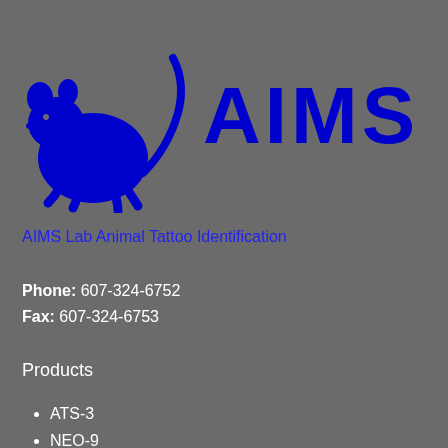[Figure (logo): AIMS logo: blue mouse/rat silhouette illustration on the left, with large bold blue text 'AIMS' on the right]
AIMS Lab Animal Tattoo Identification
Phone: 607-324-6752
Fax: 607-324-6753
Products
ATS-3
NEO-9
ATS-3L